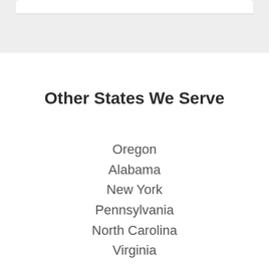Other States We Serve
Oregon
Alabama
New York
Pennsylvania
North Carolina
Virginia